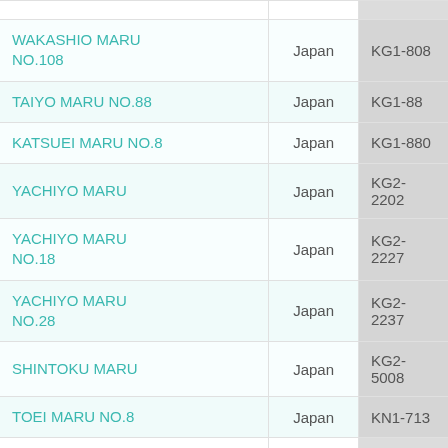| Vessel Name | Country | Code |
| --- | --- | --- |
| WAKASHIO MARU NO.108 | Japan | KG1-808 |
| TAIYO MARU NO.88 | Japan | KG1-88 |
| KATSUEI MARU NO.8 | Japan | KG1-880 |
| YACHIYO MARU | Japan | KG2-2202 |
| YACHIYO MARU NO.18 | Japan | KG2-2227 |
| YACHIYO MARU NO.28 | Japan | KG2-2237 |
| SHINTOKU MARU | Japan | KG2-5008 |
| TOEI MARU NO.8 | Japan | KN1-713 |
| KOYO MARU NO.31 | Japan | KN1-715 |